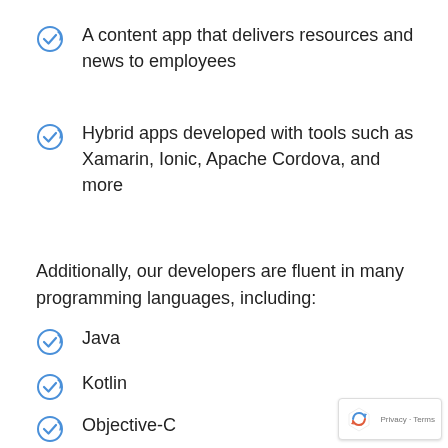A content app that delivers resources and news to employees
Hybrid apps developed with tools such as Xamarin, Ionic, Apache Cordova, and more
Additionally, our developers are fluent in many programming languages, including:
Java
Kotlin
Objective-C